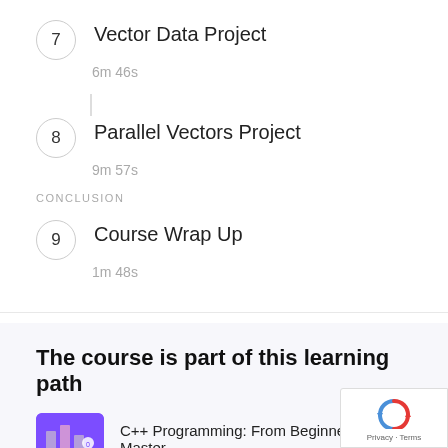7 Vector Data Project
6m 46s
8 Parallel Vectors Project
9m 57s
CONCLUSION
9 Course Wrap Up
1m 48s
The course is part of this learning path
C++ Programming: From Beginner to Master